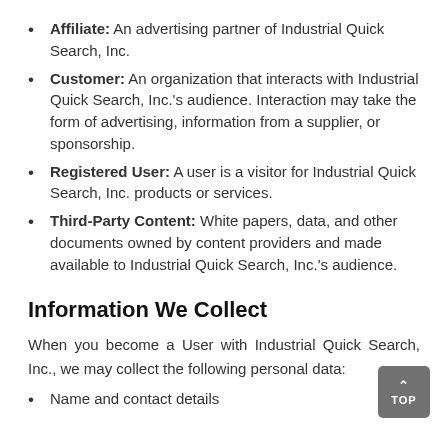Affiliate: An advertising partner of Industrial Quick Search, Inc.
Customer: An organization that interacts with Industrial Quick Search, Inc.'s audience. Interaction may take the form of advertising, information from a supplier, or sponsorship.
Registered User: A user is a visitor for Industrial Quick Search, Inc. products or services.
Third-Party Content: White papers, data, and other documents owned by content providers and made available to Industrial Quick Search, Inc.'s audience.
Information We Collect
When you become a User with Industrial Quick Search, Inc., we may collect the following personal data:
Name and contact details